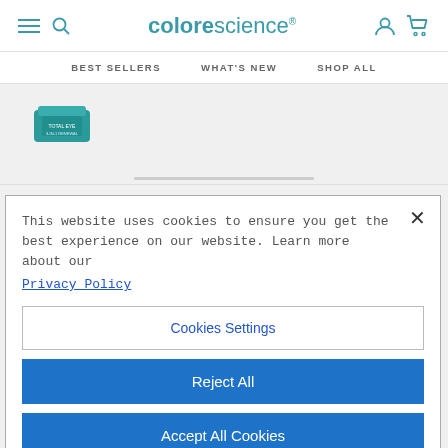colorescience — BEST SELLERS  WHAT'S NEW  SHOP ALL
[Figure (photo): Partial view of a teal/green colorescience product container (jar) partially visible at left side of product area]
This website uses cookies to ensure you get the best experience on our website. Learn more about our Privacy Policy
Cookies Settings
Reject All
Accept All Cookies